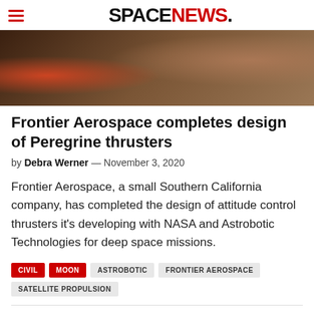SPACENEWS.
[Figure (photo): Close-up photo of aerospace thruster hardware with red/orange glow and mechanical components against a dark brown background]
Frontier Aerospace completes design of Peregrine thrusters
by Debra Werner — November 3, 2020
Frontier Aerospace, a small Southern California company, has completed the design of attitude control thrusters it's developing with NASA and Astrobotic Technologies for deep space missions.
CIVIL
MOON
ASTROBOTIC
FRONTIER AEROSPACE
SATELLITE PROPULSION
Spacebit invites research partners for 2021 lunar